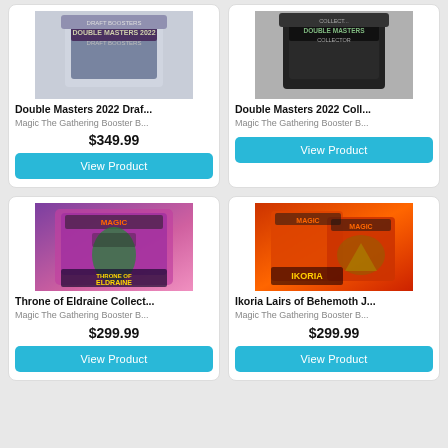[Figure (photo): Double Masters 2022 Draft Booster box product image (partially cropped at top)]
Double Masters 2022 Draf...
Magic The Gathering Booster B...
$349.99
View Product
[Figure (photo): Double Masters 2022 Collector Booster box product image (partially cropped at top)]
Double Masters 2022 Coll...
Magic The Gathering Booster B...
View Product
[Figure (photo): Throne of Eldraine Collector Booster box product image]
Throne of Eldraine Collect...
Magic The Gathering Booster B...
$299.99
View Product
[Figure (photo): Ikoria Lairs of Behemoth product image]
Ikoria Lairs of Behemoth J...
Magic The Gathering Booster B...
$299.99
View Product